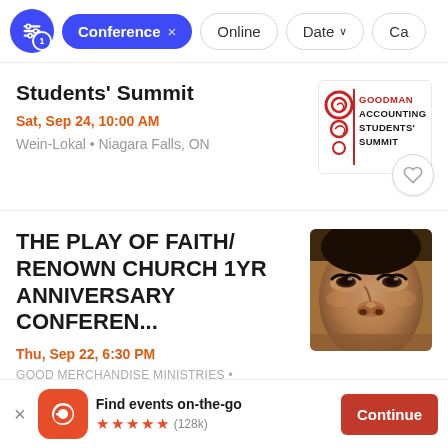Conference × | Online | Date | Ca...
Students' Summit
Sat, Sep 24, 10:00 AM
Wein-Lokal • Niagara Falls, ON
[Figure (logo): Goodman Accounting Students' Summit logo with red swirl design]
THE PLAY OF FAITH/ RENOWN CHURCH 1YR ANNIVERSARY CONFEREN...
Thu, Sep 22, 6:30 PM
GOOD MERCHANDISE MINISTRIES •
[Figure (photo): Close-up photo of a person's face, eyes and nose visible]
Find events on-the-go ★★★★★ (128k)
Continue